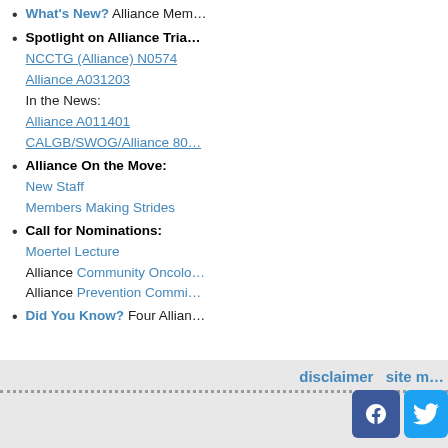What's New? Alliance Mem…
Spotlight on Alliance Tria… NCCTG (Alliance) N0574 Alliance A031203 In the News: Alliance A011401 CALGB/SWOG/Alliance 80…
Alliance On the Move: New Staff Members Making Strides
Call for Nominations: Moertel Lecture Alliance Community Oncolo… Alliance Prevention Commi…
Did You Know? Four Allian…
disclaimer   site …